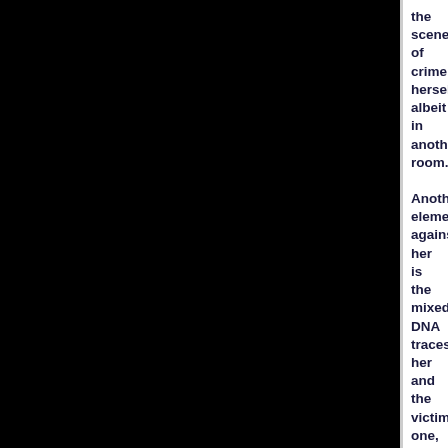the scene of crime herself, albeit in another room. Another element against her is the mixed DNA traces, her and the victim's one, in